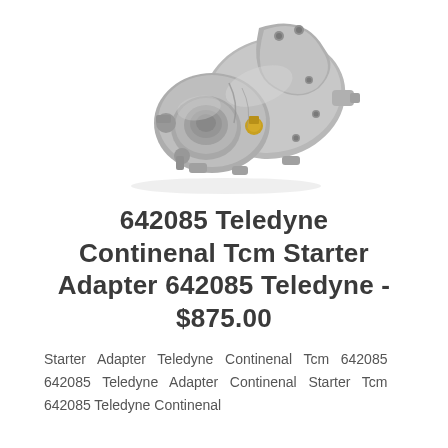[Figure (photo): Photograph of a Teledyne Continental TCM starter adapter part number 642085. The component is a metallic silver/gray cast aluminum mechanical part with multiple ports and fittings, featuring a brass fitting. White background.]
642085 Teledyne Continenal Tcm Starter Adapter 642085 Teledyne - $875.00
Starter Adapter Teledyne Continenal Tcm 642085 642085 Teledyne Adapter Continenal Starter Tcm 642085 Teledyne Continenal